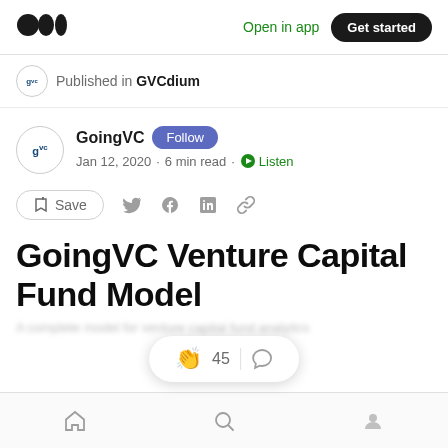Medium — Open in app · Get started
Published in GVCdium
GoingVC · Follow · Jan 12, 2020 · 6 min read · Listen
Save
GoingVC Venture Capital Fund Model
45 claps · comment
Home · Search · Profile